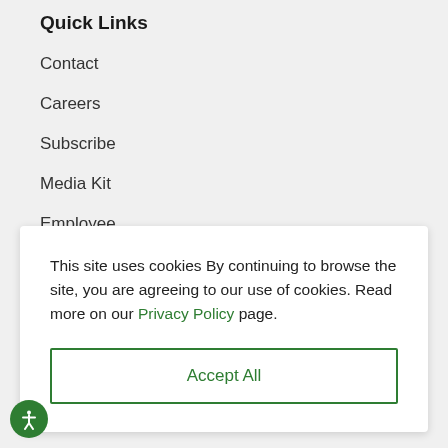Quick Links
Contact
Careers
Subscribe
Media Kit
Employee
This site uses cookies By continuing to browse the site, you are agreeing to our use of cookies. Read more on our Privacy Policy page.
Accept All